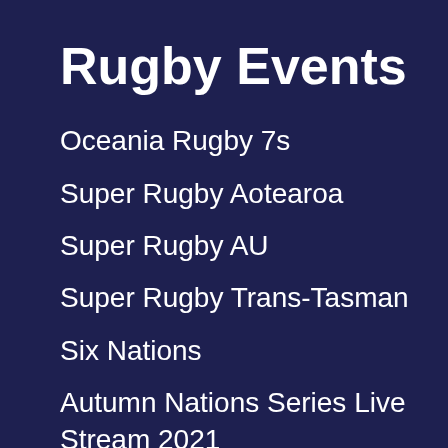Rugby Events
Oceania Rugby 7s
Super Rugby Aotearoa
Super Rugby AU
Super Rugby Trans-Tasman
Six Nations
Autumn Nations Series Live Stream 2021
Gallagher Premiership